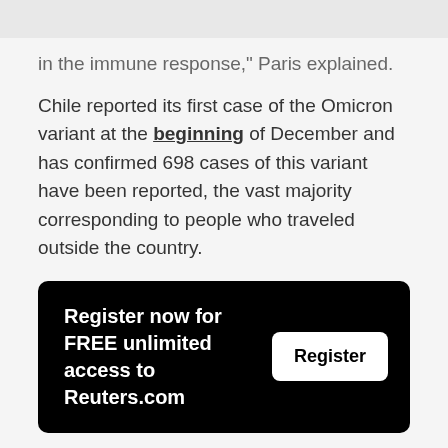in the immune response," Paris explained.
Chile reported its first case of the Omicron variant at the beginning of December and has confirmed 698 cases of this variant have been reported, the vast majority corresponding to people who traveled outside the country.
Register now for FREE unlimited access to Reuters.com
Reporting by Natalia Ramos; Writing by Carolina Pulice; Editing by Marcelo Rochabrun and Cynthia Osterman